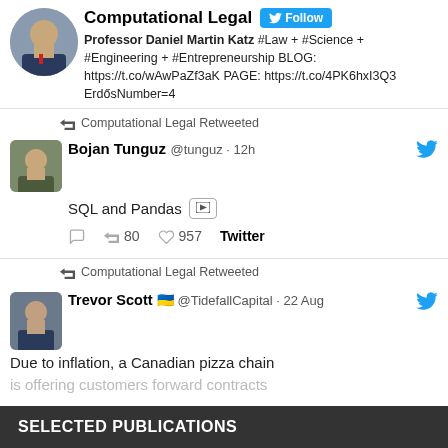[Figure (photo): Profile photo of a man in a suit]
Computational Legal [Follow button] Professor Daniel Martin Katz #Law + #Science + #Engineering + #Entrepreneurship BLOG: https://t.co/wAwPaZf3aK PAGE: https://t.co/4PK6hxI3Q3 ErdősNumber=4
Computational Legal Retweeted
[Figure (photo): Profile photo of Bojan Tunguz]
Bojan Tunguz @tunguz · 12h
SQL and Pandas [image icon]
80 retweets 957 likes Twitter
Computational Legal Retweeted
[Figure (photo): Profile photo of Trevor Scott]
Trevor Scott 🇺🇦 @TidefallCapital · 22 Aug
Due to inflation, a Canadian pizza chain is offering customers forward contracts
SELECTED PUBLICATIONS